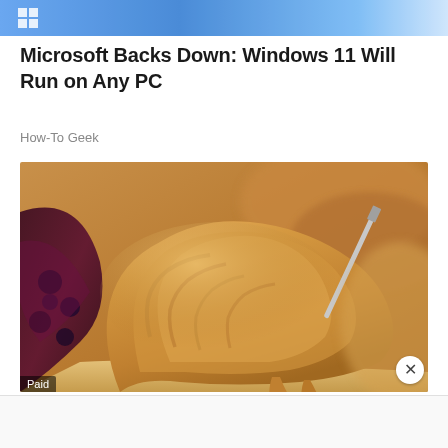[Figure (screenshot): Top cropped strip of Windows 11 promotional image with blue colors]
Microsoft Backs Down: Windows 11 Will Run on Any PC
How-To Geek
[Figure (photo): Close-up photo of peanut butter being spread with a knife on bread with blueberry jam visible on the left side. A 'Paid' label appears in the bottom-left corner. An X close button appears in the bottom-right.]